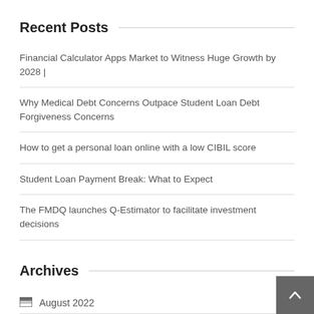Recent Posts
Financial Calculator Apps Market to Witness Huge Growth by 2028 |
Why Medical Debt Concerns Outpace Student Loan Debt Forgiveness Concerns
How to get a personal loan online with a low CIBIL score
Student Loan Payment Break: What to Expect
The FMDQ launches Q-Estimator to facilitate investment decisions
Archives
August 2022